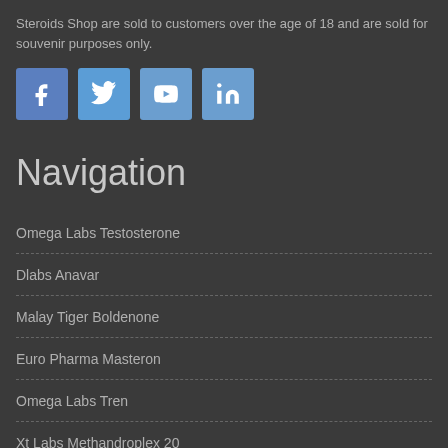Steroids Shop are sold to customers over the age of 18 and are sold for souvenir purposes only.
[Figure (infographic): Row of four social media icon buttons: Facebook (f), Twitter (bird), YouTube (play/tube), LinkedIn (in), each on a blue square background.]
Navigation
Omega Labs Testosterone
Dlabs Anavar
Malay Tiger Boldenone
Euro Pharma Masteron
Omega Labs Tren
Xt Labs Methandroplex 20